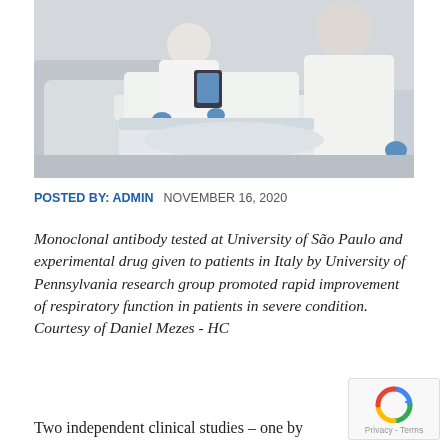[Figure (photo): Medical professionals in white protective gear and blue gloves attending to a patient in a hospital bed, one using a tablet device.]
POSTED BY: ADMIN   NOVEMBER 16, 2020
Monoclonal antibody tested at University of São Paulo and experimental drug given to patients in Italy by University of Pennsylvania research group promoted rapid improvement of respiratory function in patients in severe condition. Courtesy of Daniel Mezes - HC
Two independent clinical studies – one by